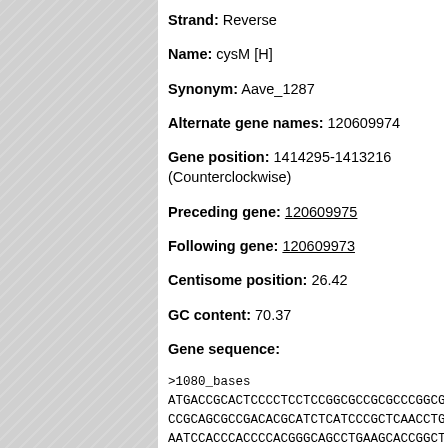Strand: Reverse
Name: cysM [H]
Synonym: Aave_1287
Alternate gene names: 120609974
Gene position: 1414295-1413216 (Counterclockwise)
Preceding gene: 120609975
Following gene: 120609973
Centisome position: 26.42
GC content: 70.37
Gene sequence:
>1080_bases
ATGACCGCACTCCCCTCCTCCGGCGCCGCGCCCGGCGGCTGGCTGCA
CCGCAGCGCCGACACGCATCTCATCCCGCTCAACCTGCCGGCCTAT
AATCCACCCACCCCACGGGCAGCCTGAAGCACCGGCTCGCGCGCTC
CACGAAGGCTCGACCATCGTCGAGTCCTCCAGCGGCTCCACGGCGG
GCCTTTCGTGGCGGTGATGCCGCGCCGCACTTCGGTGGAAAAGTGG
TCGTGGACAGCCCCGCCGAGGTGTATGACGCGGGCACGGGCGATGC